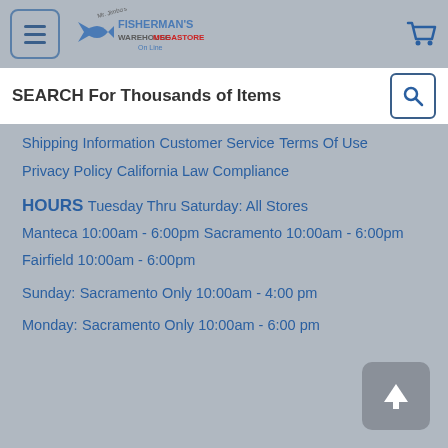Fisherman's Warehouse Megastore Online
SEARCH For Thousands of Items
Shipping Information
Customer Service
Terms Of Use
Privacy Policy
California Law Compliance
HOURS
Tuesday Thru Saturday: All Stores
Manteca 10:00am - 6:00pm
Sacramento 10:00am - 6:00pm
Fairfield 10:00am - 6:00pm
Sunday:
Sacramento Only 10:00am - 4:00 pm
Monday:
Sacramento Only 10:00am - 6:00 pm